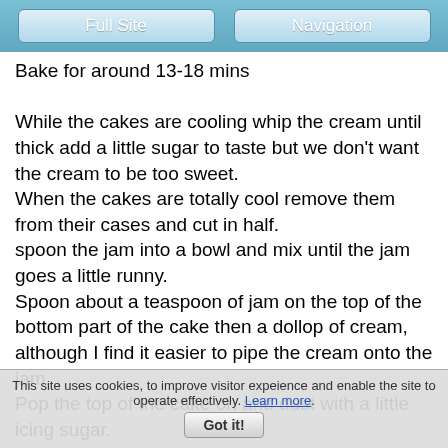Full Site | Navigation
Bake for around 13-18 mins

While the cakes are cooling whip the cream until thick add a little sugar to taste but we don't want the cream to be too sweet.
When the cakes are totally cool remove them from their cases and cut in half.
spoon the jam into a bowl and mix until the jam goes a little runny.
Spoon about a teaspoon of jam on the top of the bottom part of the cake then a dollop of cream, although I find it easier to pipe the cream onto the jam.
Pop the top of the cake on and dust with a little icing sugar.
This site uses cookies, to improve visitor expeience and enable the site to operate effectively. Learn more. Got it!